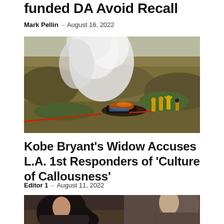funded DA Avoid Recall
Mark Pellin — August 16, 2022
[Figure (photo): Aerial or hillside view of a crash scene with smoke rising and first responders in yellow gear working with hoses near wreckage in dry brush]
Kobe Bryant's Widow Accuses L.A. 1st Responders of 'Culture of Callousness'
Editor 1 — August 11, 2022
[Figure (photo): Partial photo of a person with dark curly hair in what appears to be a courtroom or formal setting]